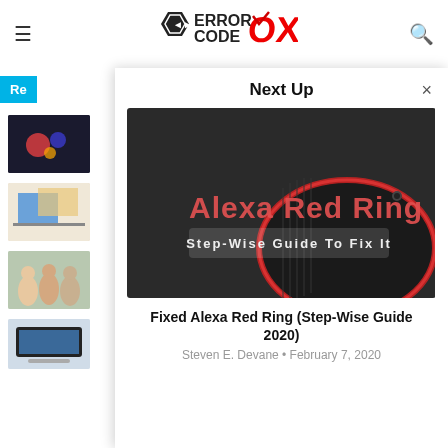ERROR CODE OX
[Figure (screenshot): Website header with ErrorCodeOX logo, hamburger menu on left, search icon on right]
Re
[Figure (photo): Dark photo thumbnail 1 in left sidebar]
[Figure (photo): Office/desk scene thumbnail 2 in left sidebar]
[Figure (photo): Group of people thumbnail 3 in left sidebar]
[Figure (photo): Laptop thumbnail 4 in left sidebar]
Next Up
[Figure (photo): Alexa Red Ring - Step-Wise Guide To Fix It promotional image showing Amazon Echo device with red ring light]
Fixed Alexa Red Ring (Step-Wise Guide 2020)
Steven E. Devane • February 7, 2020